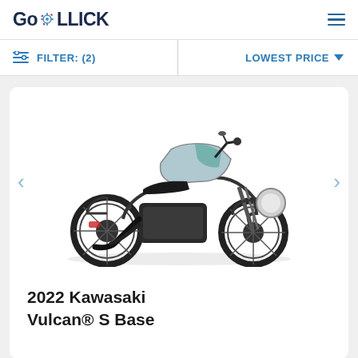GoROLLICK
FILTER: (2)
LOWEST PRICE
[Figure (photo): 2022 Kawasaki Vulcan S Base motorcycle in silver/teal color, cruiser style, shown on white background]
2022 Kawasaki Vulcan® S Base